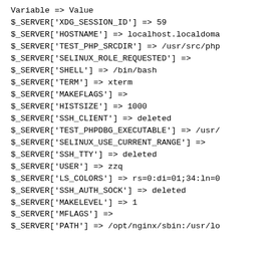Variable => Value
$_SERVER['XDG_SESSION_ID'] => 59
$_SERVER['HOSTNAME'] => localhost.localdoma
$_SERVER['TEST_PHP_SRCDIR'] => /usr/src/php
$_SERVER['SELINUX_ROLE_REQUESTED'] =>
$_SERVER['SHELL'] => /bin/bash
$_SERVER['TERM'] => xterm
$_SERVER['MAKEFLAGS'] =>
$_SERVER['HISTSIZE'] => 1000
$_SERVER['SSH_CLIENT'] => deleted
$_SERVER['TEST_PHPDBG_EXECUTABLE'] => /usr/
$_SERVER['SELINUX_USE_CURRENT_RANGE'] =>
$_SERVER['SSH_TTY'] => deleted
$_SERVER['USER'] => zzq
$_SERVER['LS_COLORS'] => rs=0:di=01;34:ln=0
$_SERVER['SSH_AUTH_SOCK'] => deleted
$_SERVER['MAKELEVEL'] => 1
$_SERVER['MFLAGS'] =>
$_SERVER['PATH'] => /opt/nginx/sbin:/usr/lo